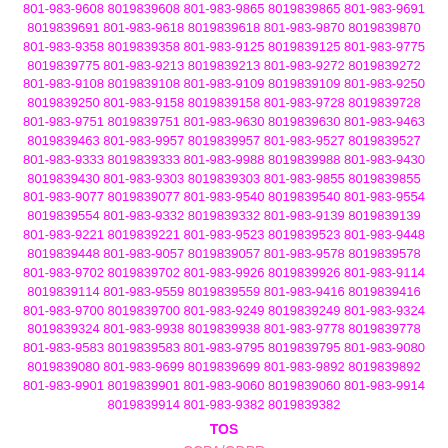801-983-9608 8019839608 801-983-9865 8019839865 801-983-9691 8019839691 801-983-9618 8019839618 801-983-9870 8019839870 801-983-9358 8019839358 801-983-9125 8019839125 801-983-9775 8019839775 801-983-9213 8019839213 801-983-9272 8019839272 801-983-9108 8019839108 801-983-9109 8019839109 801-983-9250 8019839250 801-983-9158 8019839158 801-983-9728 8019839728 801-983-9751 8019839751 801-983-9630 8019839630 801-983-9463 8019839463 801-983-9957 8019839957 801-983-9527 8019839527 801-983-9333 8019839333 801-983-9988 8019839988 801-983-9430 8019839430 801-983-9303 8019839303 801-983-9855 8019839855 801-983-9077 8019839077 801-983-9540 8019839540 801-983-9554 8019839554 801-983-9332 8019839332 801-983-9139 8019839139 801-983-9221 8019839221 801-983-9523 8019839523 801-983-9448 8019839448 801-983-9057 8019839057 801-983-9578 8019839578 801-983-9702 8019839702 801-983-9926 8019839926 801-983-9114 8019839114 801-983-9559 8019839559 801-983-9416 8019839416 801-983-9700 8019839700 801-983-9249 8019839249 801-983-9324 8019839324 801-983-9938 8019839938 801-983-9778 8019839778 801-983-9583 8019839583 801-983-9795 8019839795 801-983-9080 8019839080 801-983-9699 8019839699 801-983-9892 8019839892 801-983-9901 8019839901 801-983-9060 8019839060 801-983-9914 8019839914 801-983-9382 8019839382
TOS
CCPA/GDPR
Do Not Sell My Info (CA Residents)